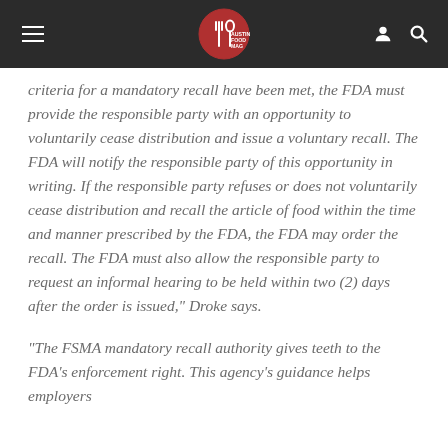Austin Food Mag
criteria for a mandatory recall have been met, the FDA must provide the responsible party with an opportunity to voluntarily cease distribution and issue a voluntary recall.  The FDA will notify the responsible party of this opportunity in writing.  If the responsible party refuses or does not voluntarily cease distribution and recall the article of food within the time and manner prescribed by the FDA, the FDA may order the recall.  The FDA must also allow the responsible party to request an informal hearing to be held within two (2) days after the order is issued," Droke says.
“The FSMA mandatory recall authority gives teeth to the FDA’s enforcement right.  This agency’s guidance helps employers